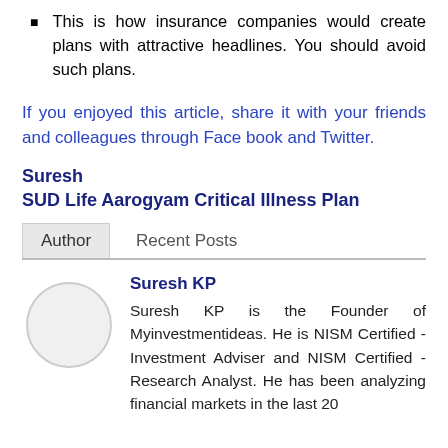This is how insurance companies would create plans with attractive headlines. You should avoid such plans.
If you enjoyed this article, share it with your friends and colleagues through Face book and Twitter.
Suresh
SUD Life Aarogyam Critical Illness Plan
Author   Recent Posts
Suresh KP
Suresh KP is the Founder of Myinvestmentideas. He is NISM Certified - Investment Adviser and NISM Certified - Research Analyst. He has been analyzing financial markets in the last 20